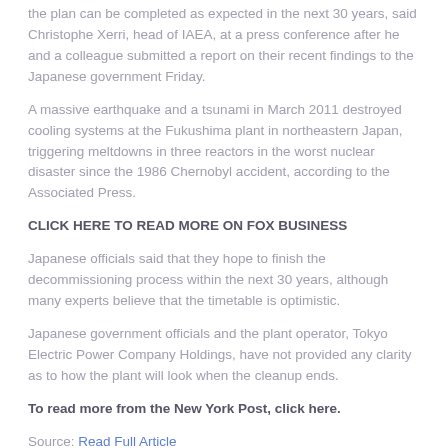the plan can be completed as expected in the next 30 years, said Christophe Xerri, head of IAEA, at a press conference after he and a colleague submitted a report on their recent findings to the Japanese government Friday.
A massive earthquake and a tsunami in March 2011 destroyed cooling systems at the Fukushima plant in northeastern Japan, triggering meltdowns in three reactors in the worst nuclear disaster since the 1986 Chernobyl accident, according to the Associated Press.
CLICK HERE TO READ MORE ON FOX BUSINESS
Japanese officials said that they hope to finish the decommissioning process within the next 30 years, although many experts believe that the timetable is optimistic.
Japanese government officials and the plant operator, Tokyo Electric Power Company Holdings, have not provided any clarity as to how the plant will look when the cleanup ends.
To read more from the New York Post, click here.
Source: Read Full Article
you may also like:
1. California utility using 'smarter, shorter' tactic for